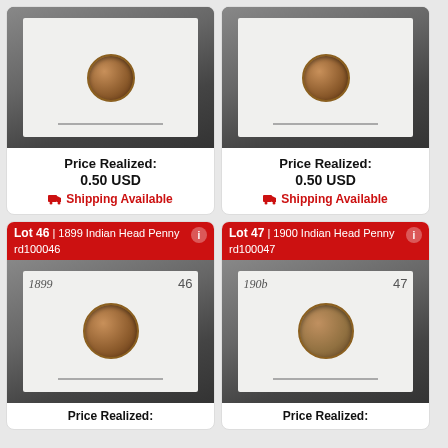[Figure (photo): Coin auction listing top-left (truncated top), showing Indian Head Penny on card. Price Realized: 0.50 USD. Shipping Available.]
Price Realized: 0.50 USD
🚚 Shipping Available
[Figure (photo): Coin auction listing top-right (truncated top), showing Indian Head Penny on card. Price Realized: 0.50 USD. Shipping Available.]
Price Realized: 0.50 USD
🚚 Shipping Available
Lot 46 | 1899 Indian Head Penny rd100046
[Figure (photo): 1899 Indian Head Penny lot 46, coin on white card with handwritten '1899' and lot number '46'.]
Price Realized:
Lot 47 | 1900 Indian Head Penny rd100047
[Figure (photo): 1900 Indian Head Penny lot 47, coin on white card with handwritten '1900' and lot number '47'.]
Price Realized: